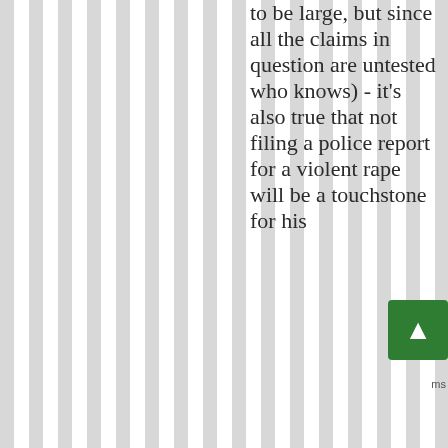to be large, but since all the claims in question are untested who knows) - it's also true that not filing a police report for a violent rape will be a touchstone for his